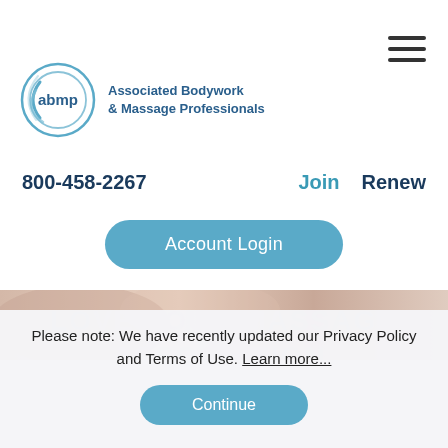[Figure (logo): ABMP logo: circular swirl design with 'abmp' text and 'Associated Bodywork & Massage Professionals' text]
[Figure (other): Hamburger menu icon (three horizontal lines)]
800-458-2267
Join
Renew
Account Login
[Figure (photo): Hero banner image showing a warm skin-tone background (massage/bodywork themed)]
Please note: We have recently updated our Privacy Policy and Terms of Use. Learn more...
Continue